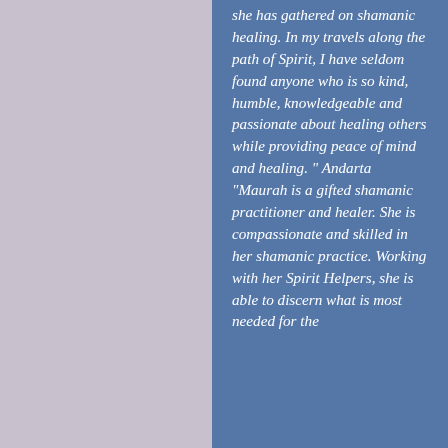she has gathered on shamanic healing. In my travels along the path of Spirit, I have seldom found anyone who is so kind, humble, knowledgeable and passionate about healing others while providing peace of mind and healing. " Andarta
"Maurah is a gifted shamanic practitioner and healer. She is compassionate and skilled in her shamanic practice. Working with her Spirit Helpers, she is able to discern what is most needed for the